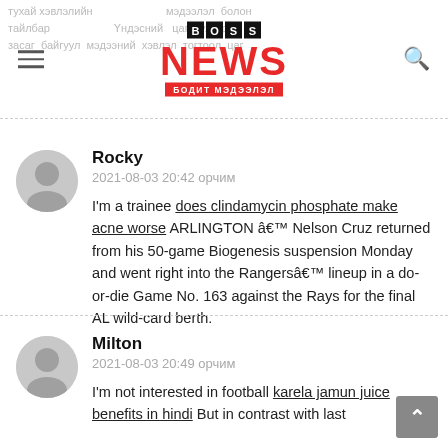BOSS NEWS — БОДИТ МЭДЭЭЛЭЛ
Rocky
2021-08-03 20:42 орчим
I'm a trainee does clindamycin phosphate make acne worse ARLINGTON â Nelson Cruz returned from his 50-game Biogenesis suspension Monday and went right into the Rangersâ lineup in a do-or-die Game No. 163 against the Rays for the final AL wild-card berth.
Milton
2021-08-03 20:49 орчим
I'm not interested in football karela jamun juice benefits in hindi But in contrast with last